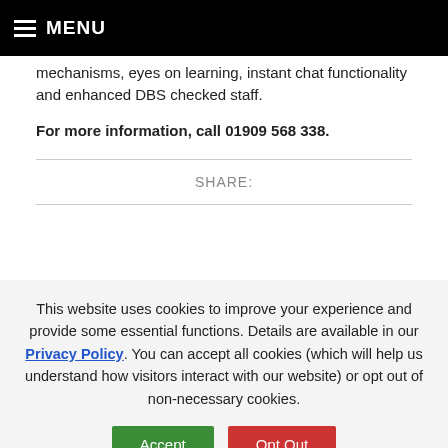MENU
mechanisms, eyes on learning, instant chat functionality and enhanced DBS checked staff.
For more information, call 01909 568 338.
SHARE:
This website uses cookies to improve your experience and provide some essential functions. Details are available in our Privacy Policy. You can accept all cookies (which will help us understand how visitors interact with our website) or opt out of non-necessary cookies.